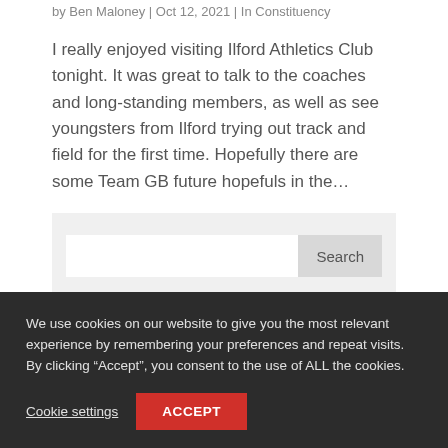by Ben Maloney | Oct 12, 2021 | In Constituency
I really enjoyed visiting Ilford Athletics Club tonight. It was great to talk to the coaches and long-standing members, as well as see youngsters from Ilford trying out track and field for the first time. Hopefully there are some Team GB future hopefuls in the…
Categories
We use cookies on our website to give you the most relevant experience by remembering your preferences and repeat visits. By clicking “Accept”, you consent to the use of ALL the cookies.